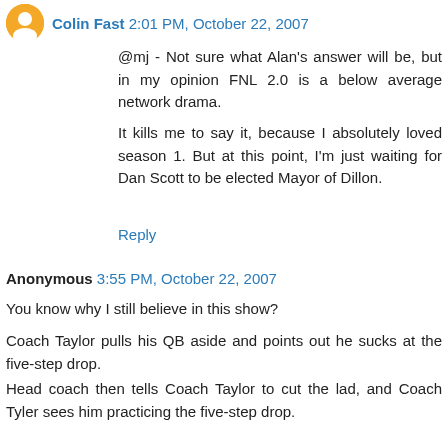Colin Fast 2:01 PM, October 22, 2007
@mj - Not sure what Alan's answer will be, but in my opinion FNL 2.0 is a below average network drama.
It kills me to say it, because I absolutely loved season 1. But at this point, I'm just waiting for Dan Scott to be elected Mayor of Dillon.
Reply
Anonymous 3:55 PM, October 22, 2007
You know why I still believe in this show?
Coach Taylor pulls his QB aside and points out he sucks at the five-step drop.
Head coach then tells Coach Taylor to cut the lad, and Coach Tyler sees him practicing the five-step drop.
He knew, in that quick scene, he needed to go back to Dylan.